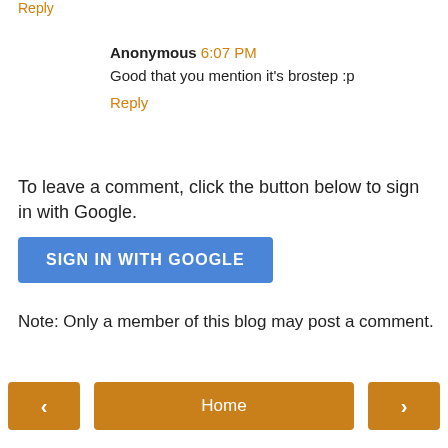Reply
Anonymous 6:07 PM
Good that you mention it's brostep :p
Reply
To leave a comment, click the button below to sign in with Google.
SIGN IN WITH GOOGLE
Note: Only a member of this blog may post a comment.
Home
View web version
Powered by Blogger.